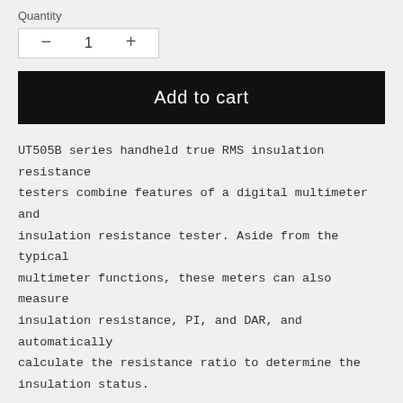Quantity
[Figure (screenshot): Quantity selector widget with minus button, number 1, and plus button inside a bordered white box]
Add to cart
UT505B series handheld true RMS insulation resistance testers combine features of a digital multimeter and insulation resistance tester. Aside from the typical multimeter functions, these meters can also measure insulation resistance, PI, and DAR, and automatically calculate the resistance ratio to determine the insulation status.
Features:
1. It is a handheld insulation resistance tester with high accuracy and stable performance.